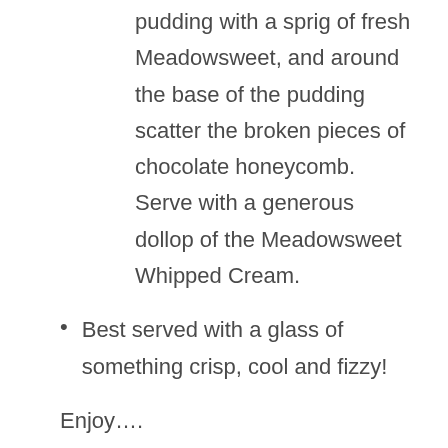pudding with a sprig of fresh Meadowsweet, and around the base of the pudding scatter the broken pieces of chocolate honeycomb. Serve with a generous dollop of the Meadowsweet Whipped Cream.
Best served with a glass of something crisp, cool and fizzy!
Enjoy….